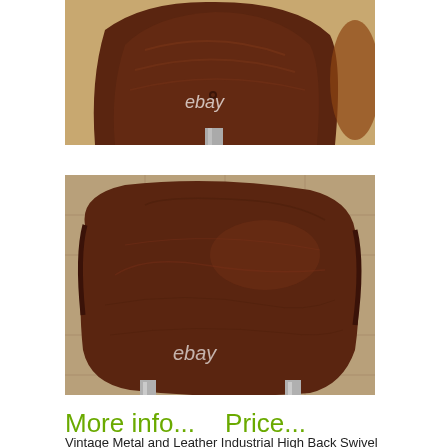[Figure (photo): Close-up photo of a worn dark brown leather chair back with stitching and texture, ebay watermark visible, wooden/metal chrome base visible at bottom]
[Figure (photo): Close-up photo of a worn dark brown leather chair seat viewed from above, showing scratches and patina, ebay watermark visible, chrome legs partially visible, tiled floor background]
More info...   Price...
Vintage Metal and Leather Industrial High Back Swivel